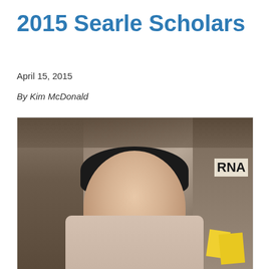2015 Searle Scholars
April 15, 2015
By Kim McDonald
[Figure (photo): Portrait photo of a researcher (Asian man, middle-aged) seated in a laboratory setting, with shelves, bottles, and lab equipment visible in the background. A sign partially reading 'RNA' is visible on the upper right.]